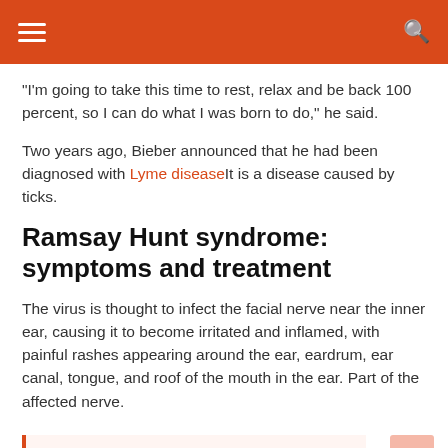"I'm going to take this time to rest, relax and be back 100 percent, so I can do what I was born to do," he said.
Two years ago, Bieber announced that he had been diagnosed with Lyme disease It is a disease caused by ticks.
Ramsay Hunt syndrome: symptoms and treatment
The virus is thought to infect the facial nerve near the inner ear, causing it to become irritated and inflamed, with painful rashes appearing around the ear, eardrum, ear canal, tongue, and roof of the mouth in the ear. Part of the affected nerve.
See also  Jumping Jack: What muscles to train and how to do it better
One may also have impaired hearing on one side, dizziness